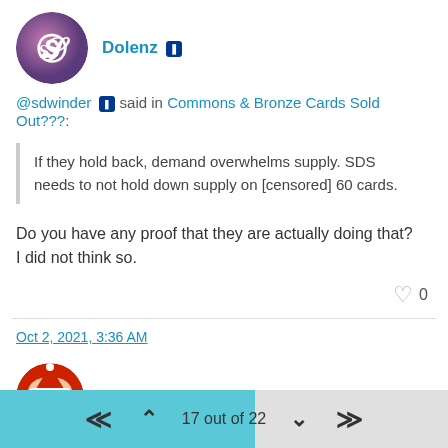[Figure (illustration): Circular avatar with St. Louis Cardinals logo (STL letters) on purple/blue gradient background]
Dolenz [PlayStation icon]
@sdwinder [PlayStation icon] said in Commons & Bronze Cards Sold Out???:
If they hold back, demand overwhelms supply. SDS needs to not hold down supply on [censored] 60 cards.
Do you have any proof that they are actually doing that?
I did not think so.
0
Oct 2, 2021, 3:36 AM
[Figure (illustration): Circular avatar with cartoon Santa Claus face on red background]
SaveFarris [PlayStation icon]
17 out of 22